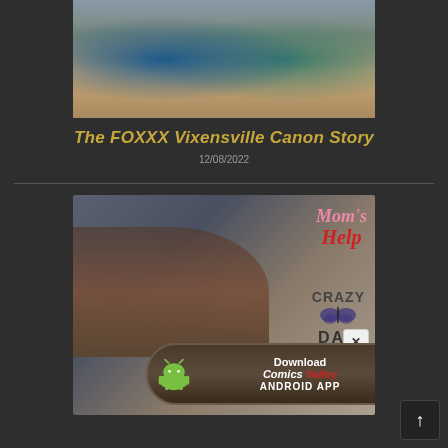[Figure (illustration): Top portion of an illustrated image showing two figures on stairs, one in a blue floral outfit and one in teal shorts]
The FOXXX Vixensville Canon Story
12/08/2022
[Figure (illustration): Illustrated image titled Mom's Help by CrAzY DAD showing two figures, with a download banner for Comics Valley Android App overlay at the bottom]
[Figure (other): Download Comics Valley Android App button with Android robot icon and CV logo]